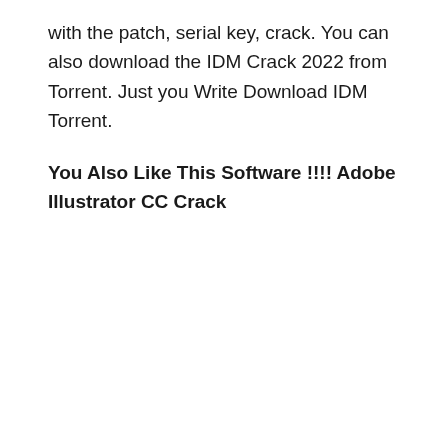with the patch, serial key, crack. You can also download the IDM Crack 2022 from Torrent. Just you Write Download IDM Torrent.
You Also Like This Software !!!! Adobe Illustrator CC Crack